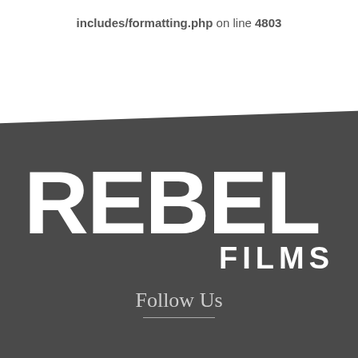includes/formatting.php on line 4803
[Figure (logo): Rebel Films logo — white bold text 'REBEL' in large uppercase letters with 'FILMS' below-right, on a dark gray angled/rotated background panel]
Follow Us